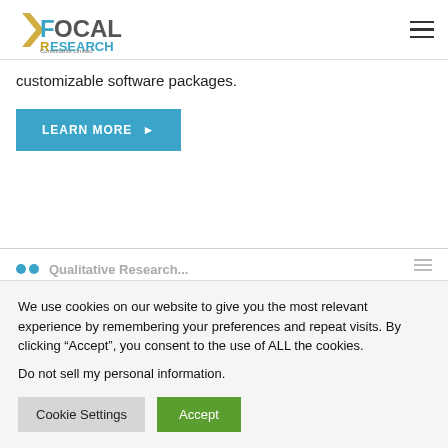[Figure (logo): Focal Research Consultants Limited logo with stylized F and R letters in blue and gold/orange]
customizable software packages.
LEARN MORE ▶
We use cookies on our website to give you the most relevant experience by remembering your preferences and repeat visits. By clicking “Accept”, you consent to the use of ALL the cookies.
Do not sell my personal information.
Cookie Settings
Accept